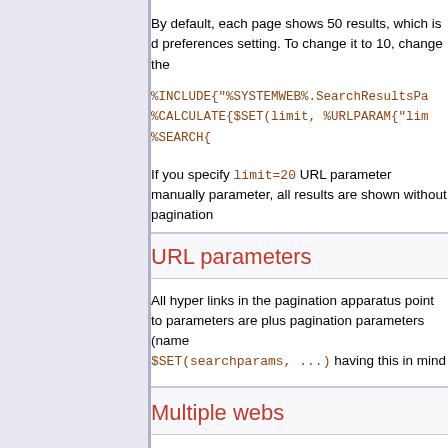By default, each page shows 50 results, which is d preferences setting. To change it to 10, change the
%INCLUDE{"%SYSTEMWEB%.SearchResultsPa
%CALCULATE{$SET(limit, %URLPARAM{"lim
%SEARCH{
If you specify limit=20 URL parameter manually parameter, all results are shown without pagination
URL parameters
All hyper links in the pagination apparatus point to parameters are plus pagination parameters (name $SET(searchparams, ...) having this in mind
Multiple webs